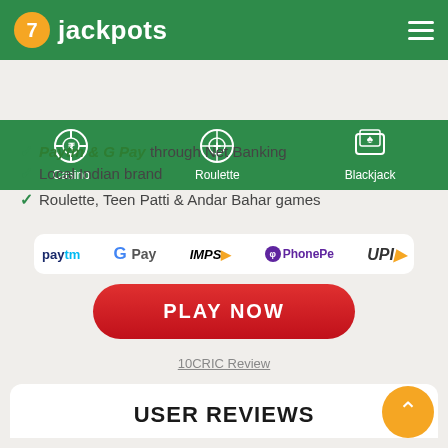7jackpots
[Figure (screenshot): Navigation bar with Casino, Roulette, and Blackjack icons on green background]
Paytm & G Pay through Net Banking
Local Indian brand
Roulette, Teen Patti & Andar Bahar games
[Figure (logo): Payment method logos: Paytm, G Pay, IMPS, PhonePe, UPI]
PLAY NOW
10CRIC Review
USER REVIEWS